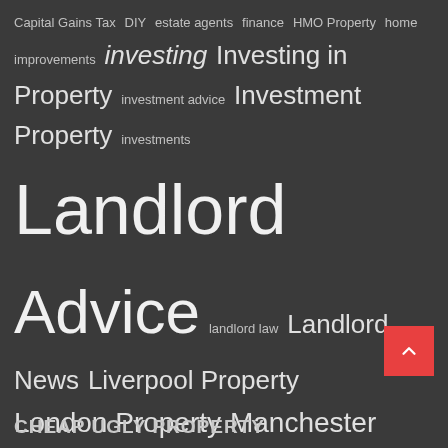[Figure (infographic): Tag cloud of property-related topics on a dark grey background. Terms vary in size indicating frequency/importance. Includes: Capital Gains Tax, DIY, estate agents, finance, HMO Property, home improvements, investing, Investing in Property, investment advice, Investment Property, investments, Landlord, Advice, landlord law, Landlord News, Liverpool Property, London Property, Manchester Property, mortgages, mortgages & finance, Portfolio Building, property, property developing, property development, Property Finance, property investing, Property Investment, property maintenance, property market, property news, property renovation, Property Tax, renovation, rental property, renting property, selling property, stamp duty, Strategy, student property, Tax Advice, UK Property, Where to Buy]
CHEAP UGLY PROPERTY